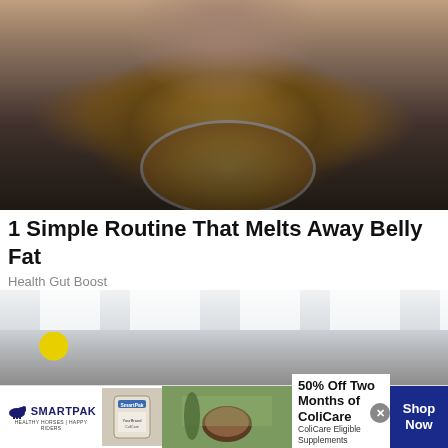[Figure (photo): Person holding a steel pot filled with sliced lemons/citrus, kitchen background with brick wall]
1 Simple Routine That Melts Away Belly Fat
Health Gut Boost
[Figure (photo): Interior of a retail store with yellow balloons and yellow column accents, bright ceiling lights]
[Figure (infographic): SmartPak advertisement banner: 50% Off Two Months of ColiCare, ColiCare Eligible Supplements, CODE: COLICARE10, Shop Now button]